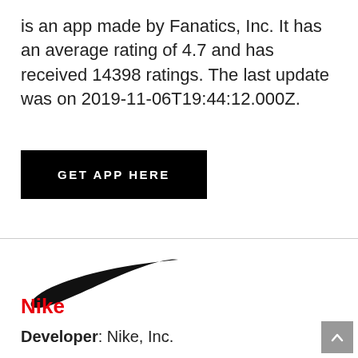is an app made by Fanatics, Inc. It has an average rating of 4.7 and has received 14398 ratings. The last update was on 2019-11-06T19:44:12.000Z.
GET APP HERE
[Figure (logo): Nike swoosh logo in black]
Nike
Developer: Nike, Inc.